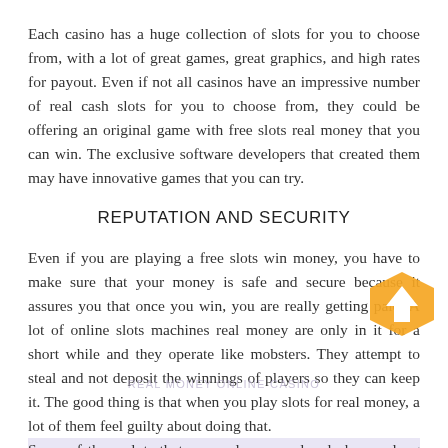Each casino has a huge collection of slots for you to choose from, with a lot of great games, great graphics, and high rates for payout. Even if not all casinos have an impressive number of real cash slots for you to choose from, they could be offering an original game with free slots real money that you can win. The exclusive software developers that created them may have innovative games that you can try.
REPUTATION AND SECURITY
Even if you are playing a free slots win money, you have to make sure that your money is safe and secure because it assures you that once you win, you are really getting paid. A lot of online slots machines real money are only in it for a short while and they operate like mobsters. They attempt to steal and not deposit the winnings of players so they can keep it. The good thing is that when you play slots for real money, a lot of them feel guilty about doing that. Some of these slots that pay real money already have a long record of paying players and you can easily find reviews about any